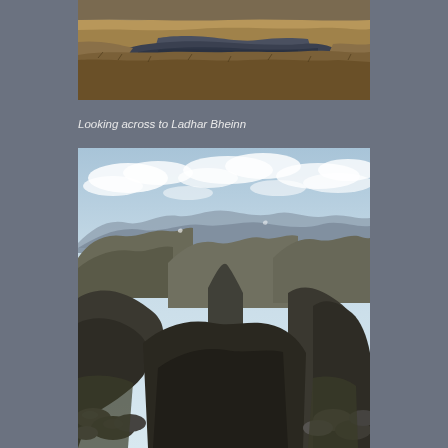[Figure (photo): Aerial or elevated view looking across a moorland with a dark reflective pond/lochan surrounded by tawny brown grass and boggy terrain, mountains visible in the distance]
Looking across to Ladhar Bheinn
[Figure (photo): Panoramic mountain landscape view from a high summit showing rugged Scottish Highland mountains with deep glens and valleys, partly cloudy sky with blue sky visible, rocky outcrops in foreground]